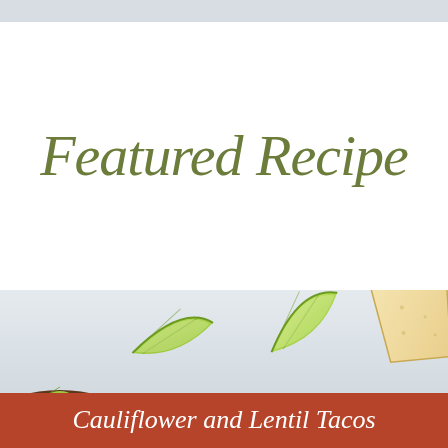Featured Recipe
[Figure (photo): Food photograph showing lime wedges and a taco on a light stone surface, with a tortilla chip visible in the upper right, and a bowl of cauliflower and lentil taco filling in the lower left]
Cauliflower and Lentil Tacos